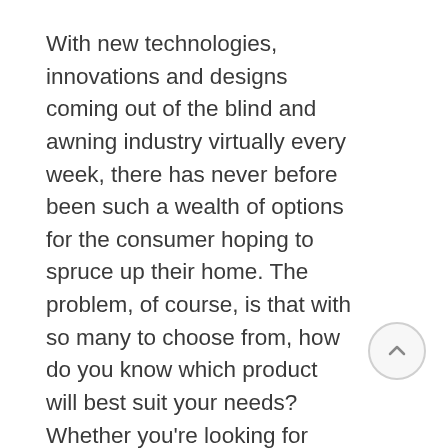With new technologies, innovations and designs coming out of the blind and awning industry virtually every week, there has never before been such a wealth of options for the consumer hoping to spruce up their home. The problem, of course, is that with so many to choose from, how do you know which product will best suit your needs? Whether you're looking for roller blinds, Roman blinds, sunshades or Venetians, the process of making a decision should be based on a thorough
[Figure (other): Circular scroll-to-top button with an upward arrow icon, grey border and light grey background]